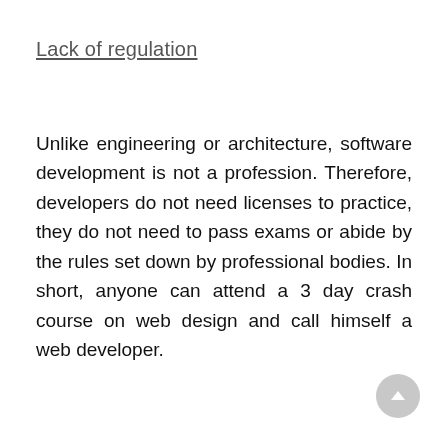Lack of regulation
Unlike engineering or architecture, software development is not a profession. Therefore, developers do not need licenses to practice, they do not need to pass exams or abide by the rules set down by professional bodies. In short, anyone can attend a 3 day crash course on web design and call himself a web developer.